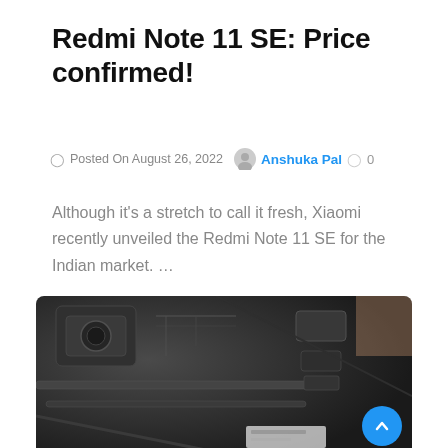Redmi Note 11 SE: Price confirmed!
Posted On August 26, 2022   Anshuka Pal   0
Although it's a stretch to call it fresh, Xiaomi recently unveiled the Redmi Note 11 SE for the Indian market. …
[Figure (photo): Close-up dark metallic view of Redmi Note 11 SE phone hardware components and chassis parts]